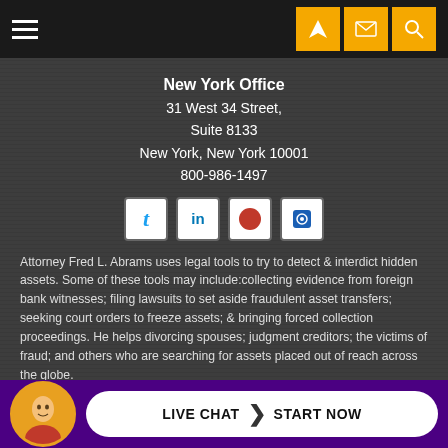[Figure (screenshot): Top navigation bar with hamburger menu and three orange icon buttons (location, email, search)]
New York Office
31 West 34 Street,
Suite 8133
New York, New York 10001
800-986-1497
[Figure (infographic): Social media icons row: Twitter, LinkedIn, Avvo (red circle), and another social icon]
Attorney Fred L. Abrams uses legal tools to try to detect & interdict hidden assets. Some of these tools may include:collecting evidence from foreign bank witnesses; filing lawsuits to set aside fraudulent asset transfers; seeking court orders to freeze assets; & bringing forced collection proceedings. He helps divorcing spouses; judgment creditors; the victims of fraud; and others who are searching for assets placed out of reach across the globe.
ATTORNEY ADVERTISING/PRIOR RESULTS DO NOT GUARANTEE A SIMILAR OUTCOME. [ Site Map ]
See our p...ww
[Figure (screenshot): Live chat bar at bottom with purple background, avatar, and white pill button saying LIVE CHAT > START NOW]